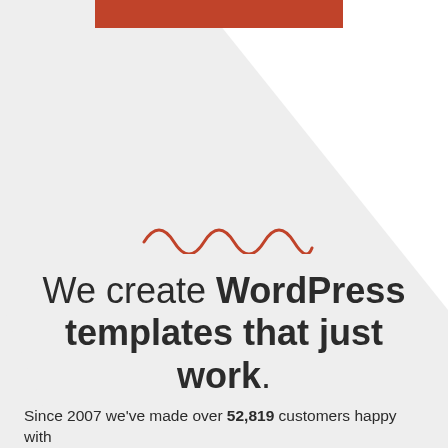[Figure (illustration): Orange rectangle at top (cropped), large white triangular shape on right side over gray background, and decorative orange wavy/zigzag line in center]
We create WordPress templates that just work.
Since 2007 we've made over 52,819 customers happy with